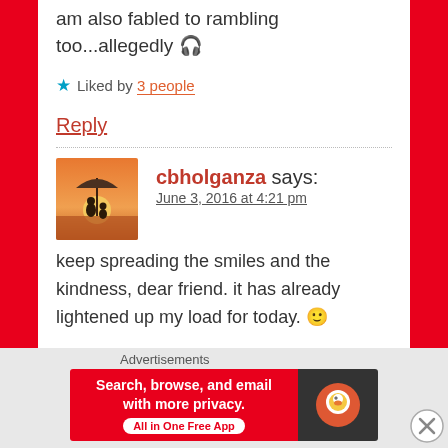am also fabled to rambling too...allegedly 🎧
★ Liked by 3 people
Reply
cbholganza says:
June 3, 2016 at 4:21 pm
keep spreading the smiles and the kindness, dear friend. it has already lightened up my load for today. 🙂
Advertisements
[Figure (screenshot): DuckDuckGo advertisement banner: 'Search, browse, and email with more privacy. All in One Free App' with DuckDuckGo logo on dark background]